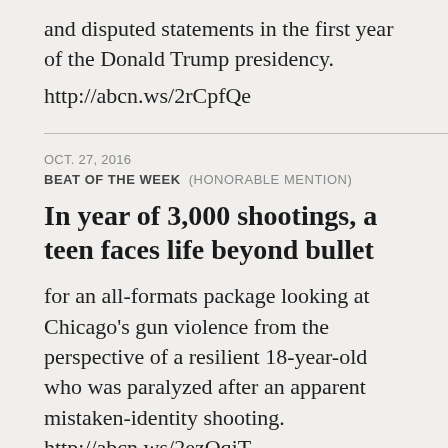and disputed statements in the first year of the Donald Trump presidency. http://abcn.ws/2rCpfQe
OCT. 27, 2016
BEAT OF THE WEEK    (HONORABLE MENTION)
In year of 3,000 shootings, a teen faces life beyond bullet
for an all-formats package looking at Chicago's gun violence from the perspective of a resilient 18-year-old who was paralyzed after an apparent mistaken-identity shooting. http://abcn.ws/2ezQqjT